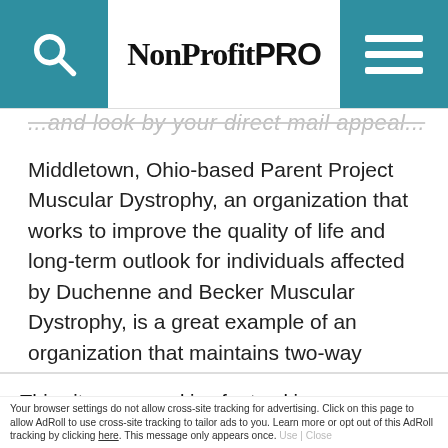NonProfit PRO
...and look by your direct mail appeal...
Middletown, Ohio-based Parent Project Muscular Dystrophy, an organization that works to improve the quality of life and long-term outlook for individuals affected by Duchenne and Becker Muscular Dystrophy, is a great example of an organization that maintains two-way communication with its constituents by wisely
This site uses cookies for tracking purposes. By continuing to browse our website, you agree to the storing of first- and third-party cookies on your device to enhance site navigation, analyze site usage, and assist in our marketing and
Accept and Close ✕
Your browser settings do not allow cross-site tracking for advertising. Click on this page to allow AdRoll to use cross-site tracking to tailor ads to you. Learn more or opt out of this AdRoll tracking by clicking here. This message only appears once.